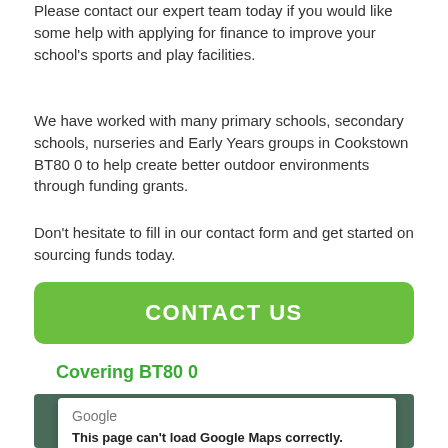Please contact our expert team today if you would like some help with applying for finance to improve your school's sports and play facilities.
We have worked with many primary schools, secondary schools, nurseries and Early Years groups in Cookstown BT80 0 to help create better outdoor environments through funding grants.
Don't hesitate to fill in our contact form and get started on sourcing funds today.
[Figure (other): Green button with 'CONTACT US' text in white capital letters]
Covering BT80 0
[Figure (screenshot): Google Maps error dialog: 'This page can't load Google Maps correctly.' with 'Do you own this website?' and OK button, on a map background]